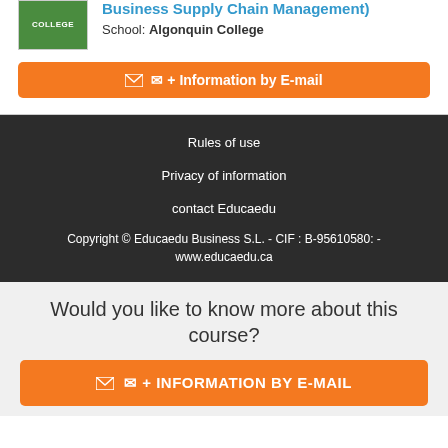Business Supply Chain Management)
School: Algonquin College
+ Information by E-mail
Rules of use
Privacy of information
contact Educaedu
Copyright © Educaedu Business S.L. - CIF : B-95610580: - www.educaedu.ca
Would you like to know more about this course?
+ INFORMATION BY E-MAIL